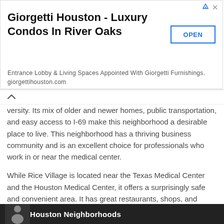[Figure (screenshot): Advertisement banner for Giorgetti Houston - Luxury Condos In River Oaks with OPEN button]
versity. Its mix of older and newer homes, public transportation, and easy access to I-69 make this neighborhood a desirable place to live. This neighborhood has a thriving business community and is an excellent choice for professionals who work in or near the medical center.
While Rice Village is located near the Texas Medical Center and the Houston Medical Center, it offers a surprisingly safe and convenient area. It has great restaurants, shops, and plenty of nightlife. While it can be a little expensive to live in, it is worth it for the safety and convenience it provides. Residents enjoy easy access to great dining options, a bustling nightlife scene, and the proximity to Houston's medical district and university.
[Figure (photo): Bottom strip showing Houston Neighborhoods heading on dark background with a person's silhouette]